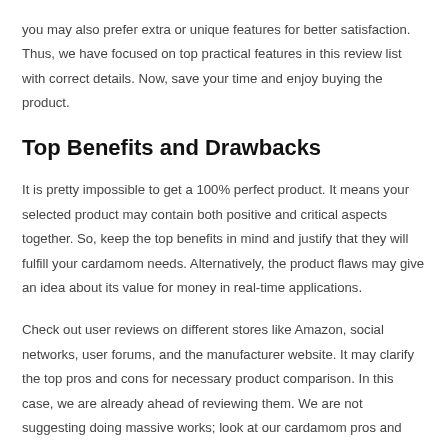you may also prefer extra or unique features for better satisfaction. Thus, we have focused on top practical features in this review list with correct details. Now, save your time and enjoy buying the product.
Top Benefits and Drawbacks
It is pretty impossible to get a 100% perfect product. It means your selected product may contain both positive and critical aspects together. So, keep the top benefits in mind and justify that they will fulfill your cardamom needs. Alternatively, the product flaws may give an idea about its value for money in real-time applications.
Check out user reviews on different stores like Amazon, social networks, user forums, and the manufacturer website. It may clarify the top pros and cons for necessary product comparison. In this case, we are already ahead of reviewing them. We are not suggesting doing massive works; look at our cardamom pros and